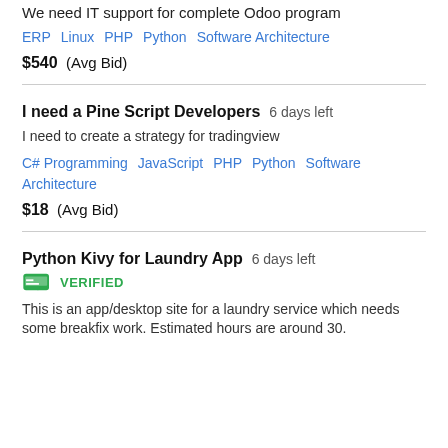We need IT support for complete Odoo program
ERP   Linux   PHP   Python   Software Architecture
$540  (Avg Bid)
I need a Pine Script Developers  6 days left
I need to create a strategy for tradingview
C# Programming   JavaScript   PHP   Python   Software Architecture
$18  (Avg Bid)
Python Kivy for Laundry App  6 days left
VERIFIED
This is an app/desktop site for a laundry service which needs some breakfix work. Estimated hours are around 30.